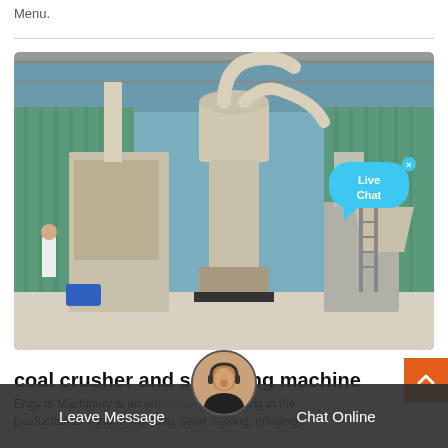Menu.
[Figure (photo): Industrial coal crusher and screening machine equipment inside a large factory warehouse. Large beige/cream colored grinding/milling machinery with cylindrical towers and pipes. A worker in white stands near the left side. A live chat bubble overlay is visible in the upper right of the image.]
coal crusher and screening machine
Engy is Machinery is an enterprise specializing in the production of various crushing, sand making, grinding...
Leave Message
Chat Online